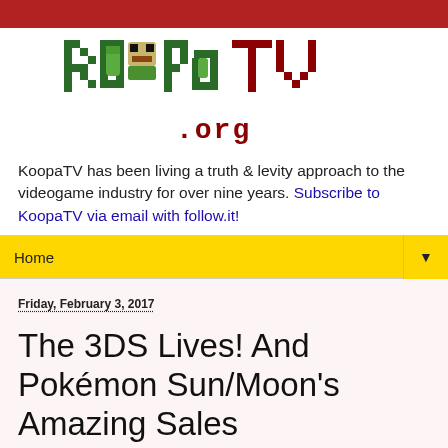[Figure (logo): KoopaTV.org pixel art logo with green Koopa shells forming the letters K, O, O, P, a Koopa turtle head for the O, and TV in dark red pixel font, with .org below in red pixel font]
KoopaTV has been living a truth & levity approach to the videogame industry for over nine years. Subscribe to KoopaTV via email with follow.it!
Home
Friday, February 3, 2017
The 3DS Lives! And Pokémon Sun/Moon's Amazing Sales
[Figure (photo): Partial image at bottom left, appears to show a colorful game screenshot or graphic with blue and green colors]